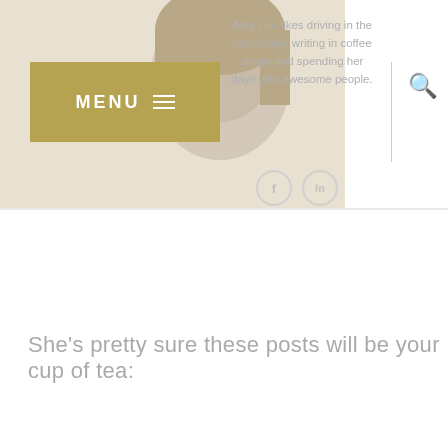[Figure (photo): Photo of Amy Loo in the upper left area of a blog website header, partially overlapped by a menu button]
Amy Loo likes driving in the mountains, writing in coffee shops and spending her days with awesome people.
MENU
She's pretty sure these posts will be your cup of tea:
23 comments:
Isolde  11 July 2017 at 22:27
Cool resources ;-)
Reply